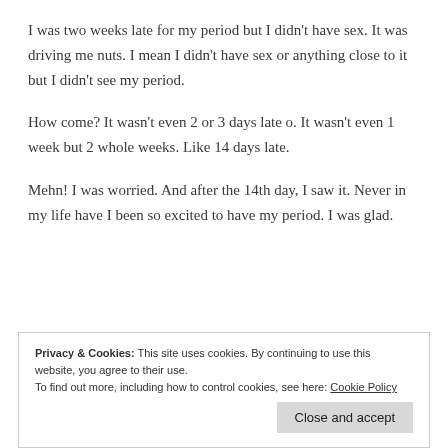I was two weeks late for my period but I didn't have sex. It was driving me nuts. I mean I didn't have sex or anything close to it but I didn't see my period.
How come? It wasn't even 2 or 3 days late o. It wasn't even 1 week but 2 whole weeks. Like 14 days late.
Mehn! I was worried. And after the 14th day, I saw it. Never in my life have I been so excited to have my period. I was glad.
Privacy & Cookies: This site uses cookies. By continuing to use this website, you agree to their use. To find out more, including how to control cookies, see here: Cookie Policy